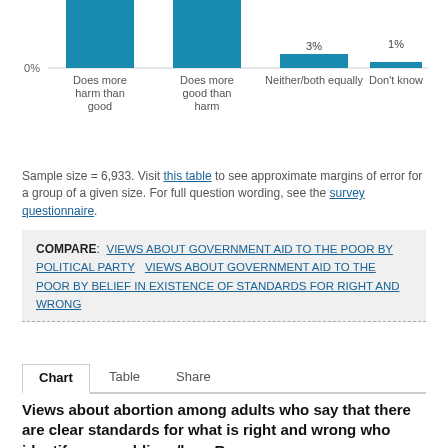[Figure (bar-chart): ]
Sample size = 6,933. Visit this table to see approximate margins of error for a group of a given size. For full question wording, see the survey questionnaire.
COMPARE: VIEWS ABOUT GOVERNMENT AID TO THE POOR BY POLITICAL PARTY   VIEWS ABOUT GOVERNMENT AID TO THE POOR BY BELIEF IN EXISTENCE OF STANDARDS FOR RIGHT AND WRONG
Chart   Table   Share
Views about abortion among adults who say that there are clear standards for what is right and wrong who identify as republican/lean Rep.